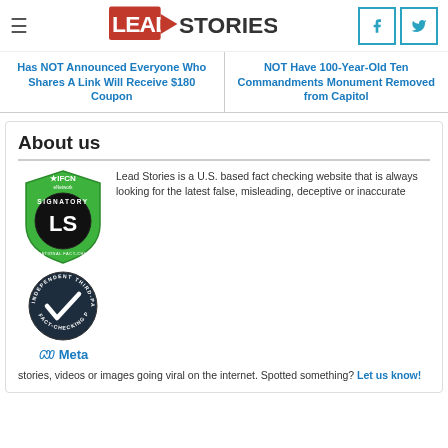Lead Stories
Has NOT Announced Everyone Who Shares A Link Will Receive $180 Coupon
NOT Have 100-Year-Old Ten Commandments Monument Removed from Capitol
About us
[Figure (logo): IFCN Signatory badge (green shield with LS logo) and Meta Independent Third-Party Fact-Checking Partner badge]
Lead Stories is a U.S. based fact checking website that is always looking for the latest false, misleading, deceptive or inaccurate stories, videos or images going viral on the internet. Spotted something? Let us know!